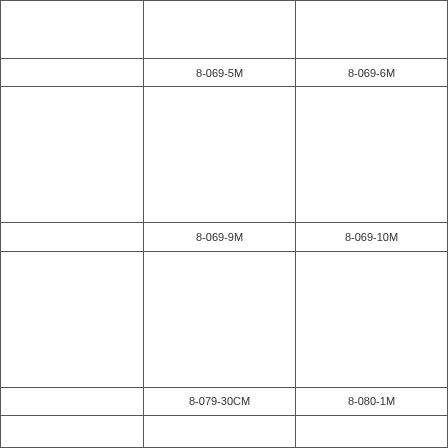|  |  |  |
|  | 8-069-5M | 8-069-6M |
|  |  |  |
|  | 8-069-9M | 8-069-10M |
|  |  |  |
|  | 8-079-30CM | 8-080-1M |
|  |  |  |